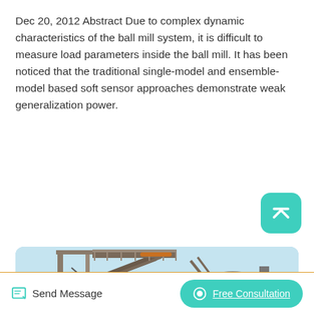Dec 20, 2012 Abstract Due to complex dynamic characteristics of the ball mill system, it is difficult to measure load parameters inside the ball mill. It has been noticed that the traditional single-model and ensemble-model based soft sensor approaches demonstrate weak generalization power.
[Figure (other): Green teal 'Read More' button]
[Figure (photo): Industrial ball mill machinery photograph showing conveyor belts, metal framework, and industrial equipment against a blue sky background]
Send Message | Free Consultation